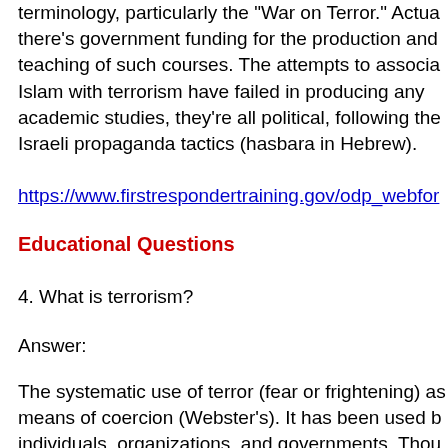terminology, particularly the "War on Terror." Actual there's government funding for the production and teaching of such courses. The attempts to associate Islam with terrorism have failed in producing any academic studies, they're all political, following the Israeli propaganda tactics (hasbara in Hebrew).
https://www.firstrespondertraining.gov/odp_webfor
Educational Questions
4. What is terrorism?
Answer:
The systematic use of terror (fear or frightening) as means of coercion (Webster's). It has been used by individuals, organizations, and governments. Though most of the civilians killed in conflicts are victims of government forces fire, the focus of pro-war corporate media is on organizational terrorism. Government (or State) terrorism is ignored completely.
5. Why has the US been involved in so many wars